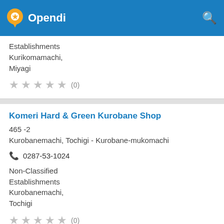Opendi
Establishments
Kurikomamachi,
Miyagi
★★★★★ (0)
Komeri Hard & Green Kurobane Shop
465 -2
Kurobanemachi, Tochigi - Kurobane-mukomachi
0287-53-1024
Non-Classified Establishments
Kurobanemachi,
Tochigi
★★★★★ (0)
Komeri Hard & Green Kurobane Shop